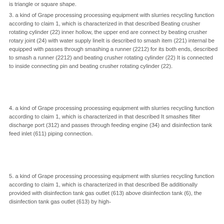is triangle or square shape.
3. a kind of Grape processing processing equipment with slurries recycling function according to claim 1, which is characterized in that described Beating crusher rotating cylinder (22) inner hollow, the upper end are connect by beating crusher rotary joint (24) with water supply line It is described to smash item (221) internal be equipped with passes through smashing a runner (2212) for its both ends, described to smash a runner (2212) and beating crusher rotating cylinder (22) It is connected to inside connecting pin and beating crusher rotating cylinder (22).
4. a kind of Grape processing processing equipment with slurries recycling function according to claim 1, which is characterized in that described It smashes filter discharge port (312) and passes through feeding engine (34) and disinfection tank feed inlet (611) piping connection.
5. a kind of Grape processing processing equipment with slurries recycling function according to claim 1, which is characterized in that described Be additionally provided with disinfection tank gas outlet (613) above disinfection tank (6), the disinfection tank gas outlet (613) by high-